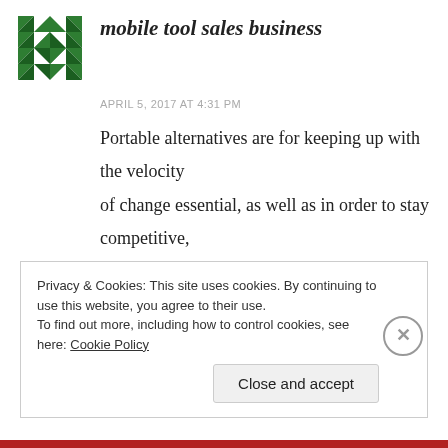mobile tool sales business
APRIL 5, 2017 AT 4:31 PM
Portable alternatives are for keeping up with the velocity of change essential, as well as in order to stay competitive, revenue teams should have the data they should earn at every single step of a sales method and from any spot.
Privacy & Cookies: This site uses cookies. By continuing to use this website, you agree to their use. To find out more, including how to control cookies, see here: Cookie Policy
Close and accept